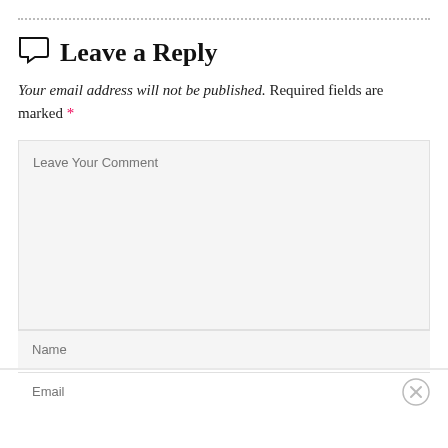Leave a Reply
Your email address will not be published. Required fields are marked *
[Figure (screenshot): Comment form textarea with placeholder 'Leave Your Comment', followed by Name and Email input fields]